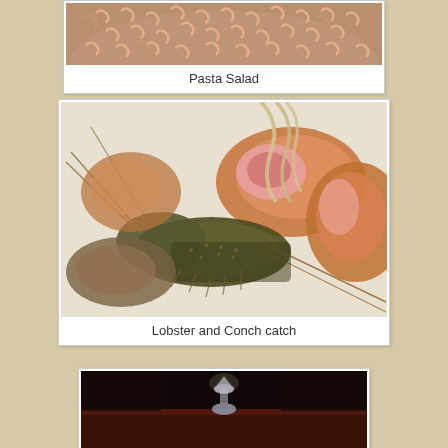[Figure (photo): Top portion of a bowl of macaroni pasta salad, partially cropped at top of page]
Pasta Salad
[Figure (photo): Lobster and conch shells arranged together on a white surface — a seafood catch]
Lobster and Conch catch
[Figure (photo): Dark interior scene with what appears to be a lamp or small item on a table, partially visible at bottom of page]